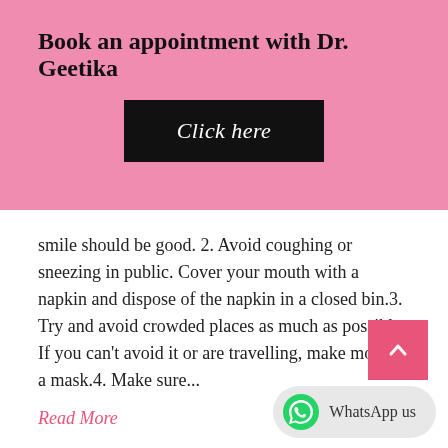Book an appointment with Dr. Geetika
[Figure (other): Black button with italic text 'Click here']
smile should be good. 2. Avoid coughing or sneezing in public. Cover your mouth with a napkin and dispose of the napkin in a closed bin.3. Try and avoid crowded places as much as possible. If you can't avoid it or are travelling, make most of a mask.4. Make sure...
Read More
0   0   110